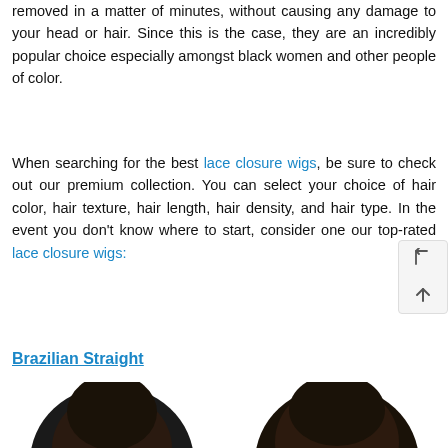removed in a matter of minutes, without causing any damage to your head or hair. Since this is the case, they are an incredibly popular choice especially amongst black women and other people of color.
When searching for the best lace closure wigs, be sure to check out our premium collection. You can select your choice of hair color, hair texture, hair length, hair density, and hair type. In the event you don't know where to start, consider one our top-rated lace closure wigs:
Brazilian Straight
[Figure (photo): Two photos of women wearing Brazilian Straight lace closure wigs with dark straight hair, showing hair part and wig fit.]